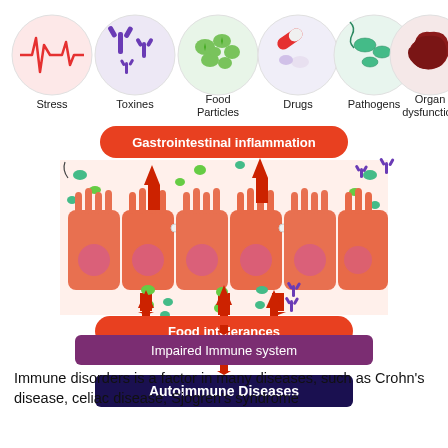[Figure (infographic): Medical infographic showing causes of intestinal permeability and cascade to autoimmune disease. Top row shows 6 circular icons: Stress (heartbeat wave), Toxines (purple Y-shaped molecules), Food Particles (green blobs), Drugs (capsules/pills), Pathogens (green parasites), Organ dysfunction (dark red liver). Below is a diagram of intestinal epithelial cells with orange rounded rectangles labeled 'Gastrointestinal inflammation' at top, 'Food intolerances' below the cells, 'Impaired Immune system' further below, and 'Autoimmune Diseases' at the bottom. Red arrows show the cascade downward through the cell layer.]
Immune disorders is a factor in many diseases, such as Crohn's disease, celiac disease, Sjogren's syndrome